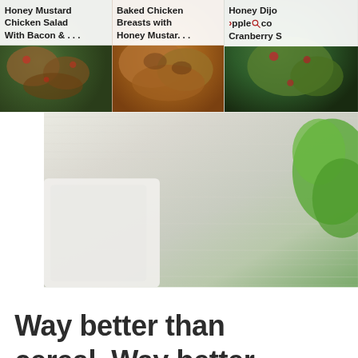[Figure (screenshot): Carousel of recipe thumbnails: Honey Mustard Chicken Salad With Bacon &..., Baked Chicken Breasts with Honey Mustar..., Honey Dijo Apple Co... Cranberry S...]
[Figure (photo): Overhead shot of a food dish on a white wooden surface with a white cloth napkin and fresh green lettuce visible on the right]
Way better than cereal. Way better than boring old toast. I’ll take two, please.
[Figure (photo): Close-up photo of what appears to be a salad or egg dish in a white bowl with orange and green elements visible, with a heart/like button (293 likes) and a red search button overlaid]
[Figure (photo): Partial view of another food photo at the bottom of the page with green and pink/red colors]